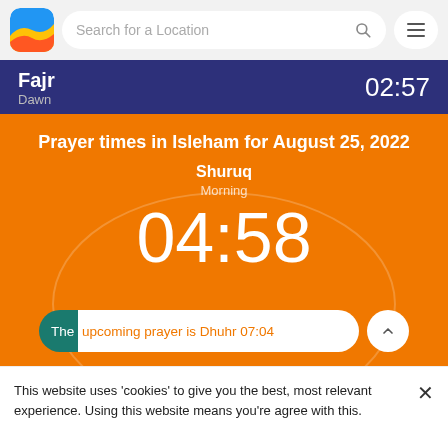[Figure (screenshot): App logo icon with blue, yellow, and red/orange wave design on rounded square]
Search for a Location
Fajr
Dawn
02:57
Prayer times in Isleham for August 25, 2022
Shuruq
Morning
04:58
The upcoming prayer is Dhuhr 07:04
This website uses 'cookies' to give you the best, most relevant experience. Using this website means you're agree with this.